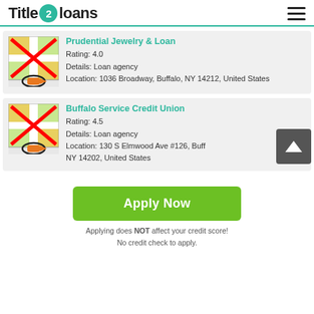Title 2 loans
Prudential Jewelry & Loan
Rating: 4.0
Details: Loan agency
Location: 1036 Broadway, Buffalo, NY 14212, United States
Buffalo Service Credit Union
Rating: 4.5
Details: Loan agency
Location: 130 S Elmwood Ave #126, Buffalo, NY 14202, United States
Apply Now
Applying does NOT affect your credit score!
No credit check to apply.